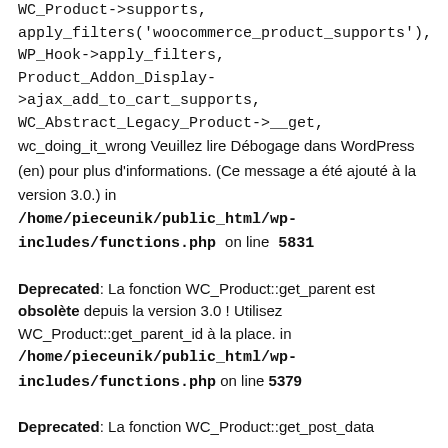WC_Product->supports, apply_filters('woocommerce_product_supports'), WP_Hook->apply_filters, Product_Addon_Display->ajax_add_to_cart_supports, WC_Abstract_Legacy_Product->__get, wc_doing_it_wrong Veuillez lire Débogage dans WordPress (en) pour plus d'informations. (Ce message a été ajouté à la version 3.0.) in /home/pieceunik/public_html/wp-includes/functions.php on line 5831
Deprecated: La fonction WC_Product::get_parent est obsolète depuis la version 3.0 ! Utilisez WC_Product::get_parent_id à la place. in /home/pieceunik/public_html/wp-includes/functions.php on line 5379
Deprecated: La fonction WC_Product::get_post_data